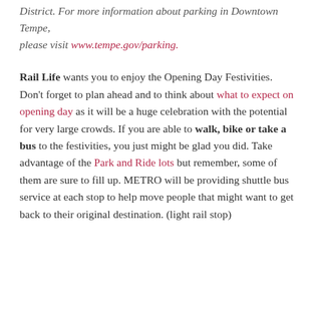District. For more information about parking in Downtown Tempe, please visit www.tempe.gov/parking.
Rail Life wants you to enjoy the Opening Day Festivities. Don't forget to plan ahead and to think about what to expect on opening day as it will be a huge celebration with the potential for very large crowds. If you are able to walk, bike or take a bus to the festivities, you just might be glad you did. Take advantage of the Park and Ride lots but remember, some of them are sure to fill up. METRO will be providing shuttle bus service at each stop to help move people that might want to get back to their original destination. (light rail stop)